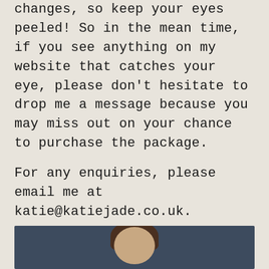changes, so keep your eyes peeled! So in the mean time, if you see anything on my website that catches your eye, please don't hesitate to drop me a message because you may miss out on your chance to purchase the package.

For any enquiries, please email me at katie@katiejade.co.uk.

Have a fab weekend :)
[Figure (photo): Portrait photo of a person, cropped to show top of head and shoulders, dark background]